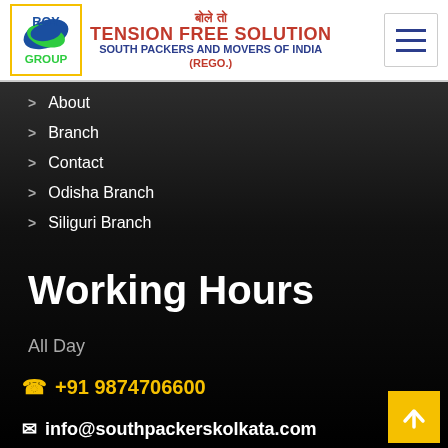ROY GROUP | TENSION FREE SOLUTION | SOUTH PACKERS AND MOVERS OF INDIA (REGO.)
About
Branch
Contact
Odisha Branch
Siliguri Branch
Working Hours
All Day
+91 9874706600
info@southpackerskolkata.com